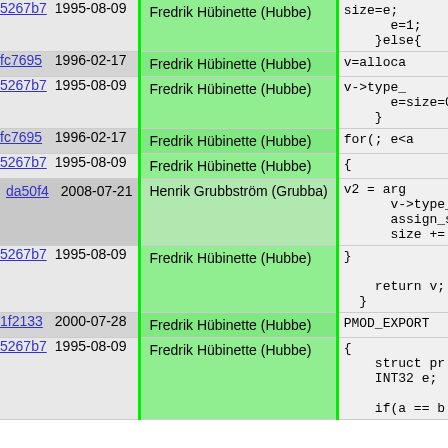| hash | date | author | code |
| --- | --- | --- | --- |
| 5267b7 | 1995-08-09 | Fredrik Hübinette (Hubbe) | size=e;
      e=1;
    }else{ |
| fc7695 | 1996-02-17 | Fredrik Hübinette (Hubbe) | v=alloca |
| 5267b7 | 1995-08-09 | Fredrik Hübinette (Hubbe) | v->type_
      e=size=0
    } |
| fc7695 | 1996-02-17 | Fredrik Hübinette (Hubbe) | for(; e<a |
| 5267b7 | 1995-08-09 | Fredrik Hübinette (Hubbe) | { |
| da50f4 | 2008-07-21 | Henrik Grubbström (Grubba) | v2 = arg
      v->type_
      assign_s
      size += |
| 5267b7 | 1995-08-09 | Fredrik Hübinette (Hubbe) | }

    return v;
  } |
| 1f2133 | 2000-07-28 | Fredrik Hübinette (Hubbe) | PMOD_EXPORT |
| 5267b7 | 1995-08-09 | Fredrik Hübinette (Hubbe) | {
    struct pr
    INT32 e;

    if(a == b |